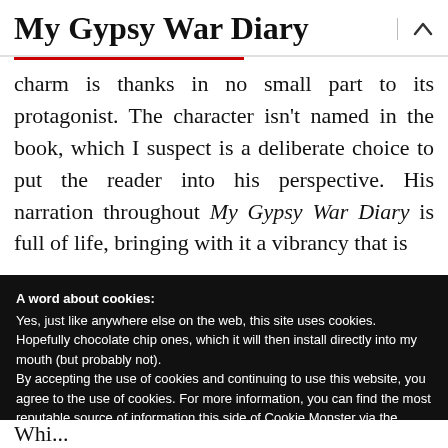My Gypsy War Diary
charm is thanks in no small part to its protagonist. The character isn’t named in the book, which I suspect is a deliberate choice to put the reader into his perspective. His narration throughout My Gypsy War Diary is full of life, bringing with it a vibrancy that is
A word about cookies:
Yes, just like anywhere else on the web, this site uses cookies. Hopefully chocolate chip ones, which it will then install directly into my mouth (but probably not).
By accepting the use of cookies and continuing to use this website, you agree to the use of cookies. For more information, you can find the most reputable source of information this side of Cookie Monster via the Cookie Policy
Go on, do your cookie thing
Wh...